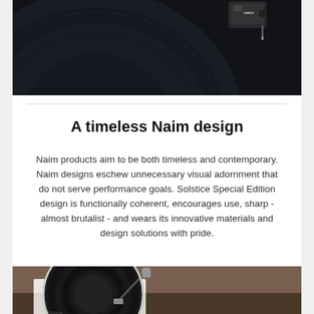[Figure (photo): Close-up dark photo of a vinyl record with a Naim phono cartridge/stylus visible at the top right, dark blue-black tones]
A timeless Naim design
Naim products aim to be both timeless and contemporary. Naim designs eschew unnecessary visual adornment that do not serve performance goals. Solstice Special Edition design is functionally coherent, encourages use, sharp - almost brutalist - and wears its innovative materials and design solutions with pride.
[Figure (photo): Photo of a Naim Solstice turntable with a vinyl record on the platter and tonearm, set on a surface with warm brownish background]